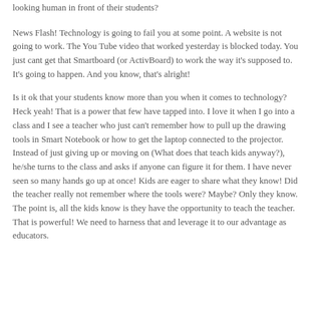looking human in front of their students?
News Flash! Technology is going to fail you at some point. A website is not going to work. The You Tube video that worked yesterday is blocked today. You just cant get that Smartboard (or ActivBoard) to work the way it's supposed to. It's going to happen. And you know, that's alright!
Is it ok that your students know more than you when it comes to technology? Heck yeah! That is a power that few have tapped into. I love it when I go into a class and I see a teacher who just can't remember how to pull up the drawing tools in Smart Notebook or how to get the laptop connected to the projector. Instead of just giving up or moving on (What does that teach kids anyway?), he/she turns to the class and asks if anyone can figure it for them. I have never seen so many hands go up at once! Kids are eager to share what they know! Did the teacher really not remember where the tools were? Maybe? Only they know. The point is, all the kids know is they have the opportunity to teach the teacher. That is powerful! We need to harness that and leverage it to our advantage as educators.